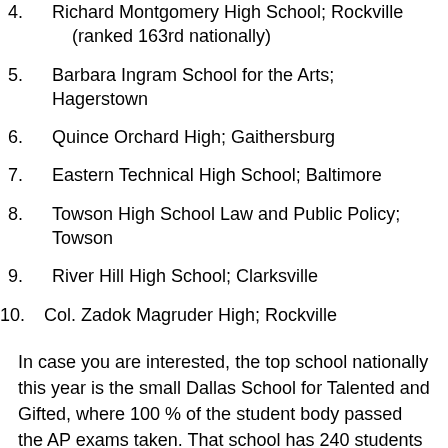4. Richard Montgomery High School; Rockville (ranked 163rd nationally)
5. Barbara Ingram School for the Arts; Hagerstown
6. Quince Orchard High; Gaithersburg
7. Eastern Technical High School; Baltimore
8. Towson High School Law and Public Policy; Towson
9. River Hill High School; Clarksville
10. Col. Zadok Magruder High; Rockville
In case you are interested, the top school nationally this year is the small Dallas School for Talented and Gifted, where 100 % of the student body passed the AP exams taken. That school has 240 students and 14 teachers!
2. Basis Scottsdale; Scottsdale AZ